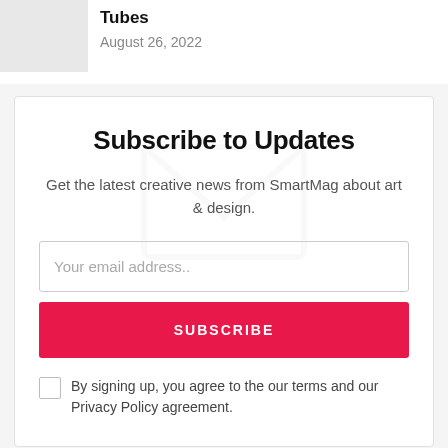Tubes
August 26, 2022
Subscribe to Updates
Get the latest creative news from SmartMag about art & design.
Your email address..
SUBSCRIBE
By signing up, you agree to the our terms and our Privacy Policy agreement.